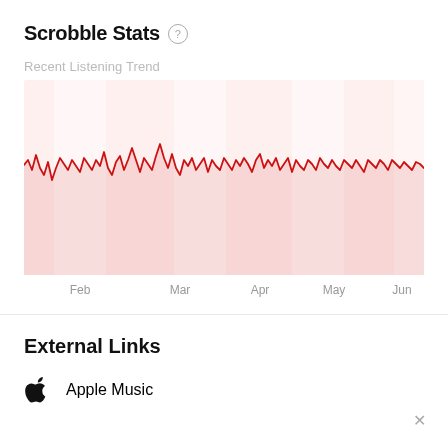Scrobble Stats
Recent Listening Trend
[Figure (continuous-plot): Area line chart showing recent listening trend from approximately January through June. The line is red, with a light red/pink filled area beneath it. The line oscillates with moderate frequency throughout, showing consistent listening activity across the months. Several slightly lighter vertical bands appear at regular intervals suggesting weekly or monthly highlights. X-axis labels: Feb, Mar, Apr, May, Jun.]
External Links
Apple Music